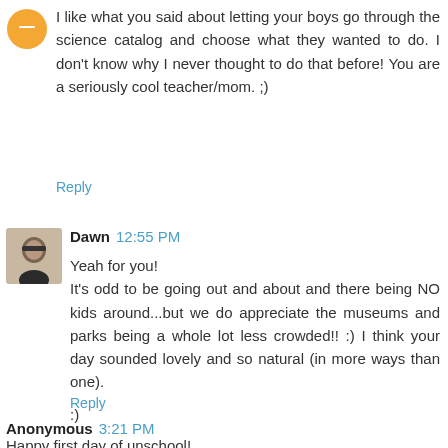I like what you said about letting your boys go through the science catalog and choose what they wanted to do. I don't know why I never thought to do that before! You are a seriously cool teacher/mom. ;)
Reply
Dawn 12:55 PM
Yeah for you!
It's odd to be going out and about and there being NO kids around...but we do appreciate the museums and parks being a whole lot less crowded!! :) I think your day sounded lovely and so natural (in more ways than one).

:)
Reply
Anonymous 3:21 PM
Happy first day of unschool!